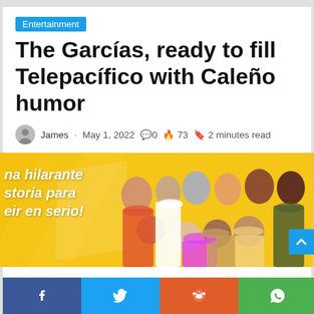Entertainment
The Garcías, ready to fill Telepacífico with Caleño humor
James · May 1, 2022 💬 0 🔥 73 🔖 2 minutes read
[Figure (photo): Promotional photo of the cast of 'The Garcías' TV show on Telepacífico, posed against a yellow diagonal background with text 'una hilarante historia para reír en serio!']
Facebook | Twitter | Reddit | WhatsApp social share buttons